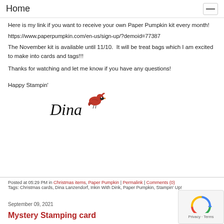Home
Here is my link if you want to receive your own Paper Pumpkin kit every month!
https://www.paperpumpkin.com/en-us/sign-up/?demoid=77387
The November kit is available until 11/10. It will be treat bags which I am excited to make into cards and tags!!!
Thanks for watching and let me know if you have any questions!
Happy Stampin'
[Figure (illustration): Cursive signature reading 'Dina' with a red cardinal bird illustration above the last letter]
Posted at 05:29 PM in Christmas items, Paper Pumpkin | Permalink | Comments (0)
Tags: Christmas cards, Dina Lanzendorf, Inkin With Dink, Paper Pumpkin, Stampin' Up!
September 09, 2021
Mystery Stamping card